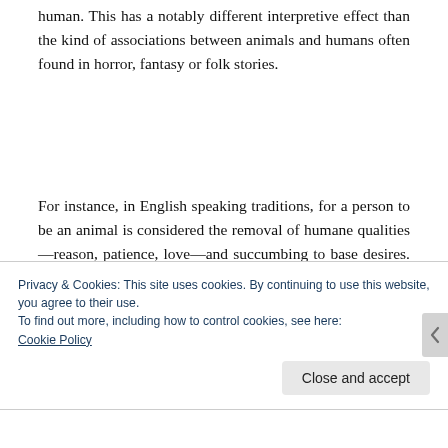human. This has a notably different interpretive effect than the kind of associations between animals and humans often found in horror, fantasy or folk stories.
For instance, in English speaking traditions, for a person to be an animal is considered the removal of humane qualities—reason, patience, love—and succumbing to base desires. In Erich Remarque's
Privacy & Cookies: This site uses cookies. By continuing to use this website, you agree to their use.
To find out more, including how to control cookies, see here:
Cookie Policy
Close and accept